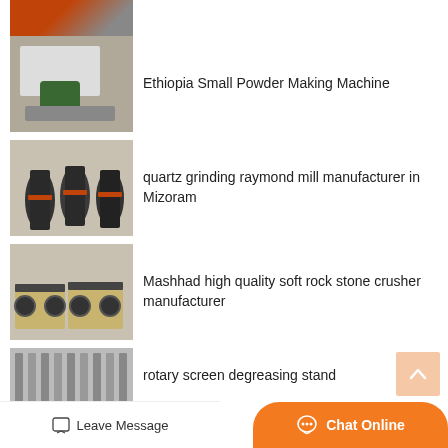[Figure (photo): Industrial orange/metal machine equipment thumbnail (partial, top of page)]
Ethiopia Small Powder Making Machine
[Figure (photo): Powder making machine with green motor on flatbed]
quartz grinding raymond mill manufacturer in Mizoram
[Figure (photo): Multiple large cylindrical raymond mill grinders in factory]
Mashhad high quality soft rock stone crusher manufacturer
[Figure (photo): Jaw crusher machines in beige/black in factory]
rotary screen degreasing stand
[Figure (photo): Rotary screen equipment partial view]
Leave Message
Chat Online